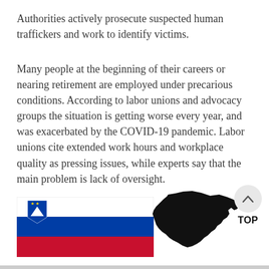Authorities actively prosecute suspected human traffickers and work to identify victims.
Many people at the beginning of their careers or nearing retirement are employed under precarious conditions. According to labor unions and advocacy groups the situation is getting worse every year, and was exacerbated by the COVID-19 pandemic. Labor unions cite extended work hours and workplace quality as pressing issues, while experts say that the main problem is lack of oversight.
[Figure (illustration): Slovenian flag (horizontal tricolor: white, blue, red with coat of arms) and black silhouette map of Slovenia, plus a 'TOP' scroll button in the top right corner]